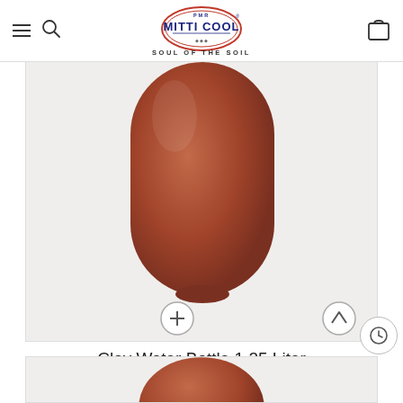Mitti Cool — Soul of the Soil
[Figure (photo): Clay water bottle in terracotta brown color, rounded capsule shape, shown from below the neck against a light gray background]
Clay Water Bottle 1.25 Liter
₹500  ₹399
[Figure (photo): Partial view of another clay product at the bottom of the page]